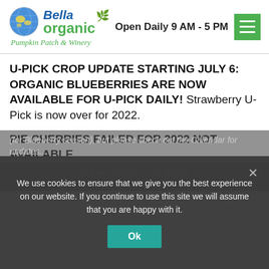[Figure (logo): Bella Organic Pumpkin Patch & Winery logo with globe icon]
Open Daily 9 AM - 5 PM
U-PICK CROP UPDATE STARTING JULY 6: ORGANIC BLUEBERRIES ARE NOW AVAILABLE FOR U-PICK DAILY! Strawberry U-Pick is now over for 2022.
PIE CHERRIES FAILED FOR 2022 NOT AVAILABLE
*Note: U-Pick will be open daily starting July 6th
(for Blueberry season), but please check out the Calendar for updates...
VIEW CALENDAR & U-PICK UPDATE
We use cookies to ensure that we give you the best experience on our website. If you continue to use this site we will assume that you are happy with it.